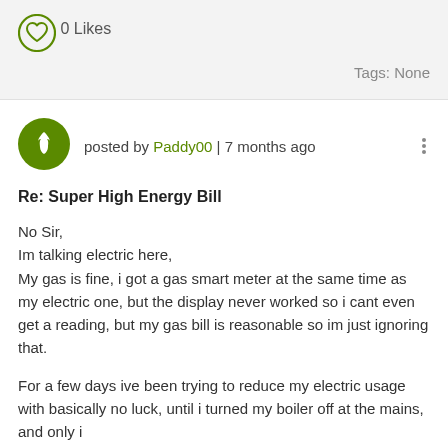[Figure (other): Heart icon (like button outline) in green circle]
0 Likes
Tags: None
[Figure (other): Green circular avatar with white flame icon]
posted by Paddy00 | 7 months ago
Re: Super High Energy Bill
No Sir,
Im talking electric here,
My gas is fine, i got a gas smart meter at the same time as my electric one, but the display never worked so i cant even get a reading, but my gas bill is reasonable so im just ignoring that.
For a few days ive been trying to reduce my electric usage with basically no luck, until i turned my boiler off at the mains, and only i